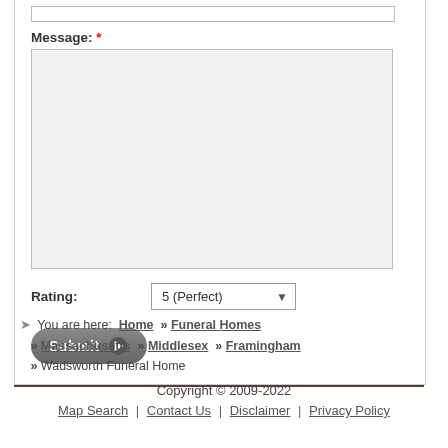Message: *
[Figure (screenshot): Large textarea input box with light gray background for message entry]
Rating: 5 (Perfect) [dropdown]
Submit button with play icon
You are here: Home » Funeral Homes » Massachusetts » Middlesex » Framingham » Wadsworth Funeral Home
Copyright © 2009-2022
Map Search | Contact Us | Disclaimer | Privacy Policy